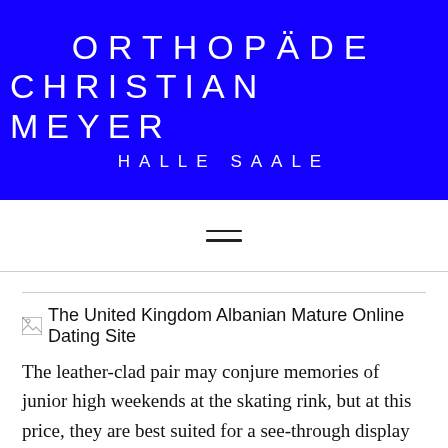ORTHOPÄDE CHRISTIAN MEYER HALLE SAALE
[Figure (other): Hamburger menu icon with two horizontal lines]
[Figure (photo): Broken image placeholder: The United Kingdom Albanian Mature Online Dating Site]
The leather-clad pair may conjure memories of junior high weekends at the skating rink, but at this price, they are best suited for a see-through display case. We must fight the use